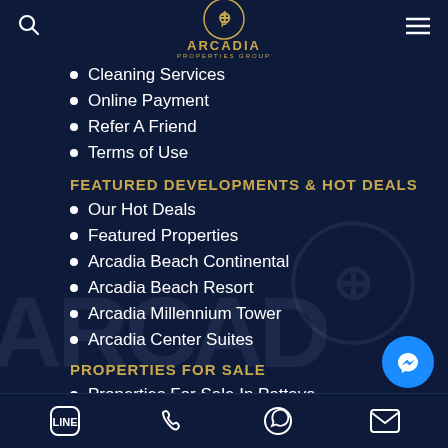[Figure (logo): Arcadia Properties Group logo — circular emblem with AP monogram in gold/dark navy, with ARCADIA text and PROPERTIES GROUP subtext]
Cleaning Services
Online Payment
Refer A Friend
Terms of Use
FEATURED DEVELOPMENTS & HOT DEALS
Our Hot Deals
Featured Properties
Arcadia Beach Continental
Arcadia Beach Resort
Arcadia Millennium Tower
Arcadia Center Suites
PROPERTIES FOR SALE
Properties For Sale In Pattaya
Properties For Sale in Central
LINE | Phone | WhatsApp | Email | Messenger